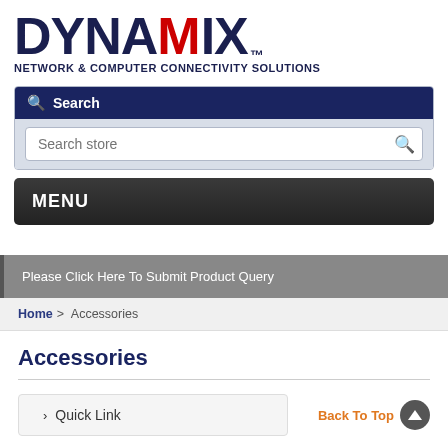[Figure (logo): DYNAMIX logo with red A, navy text, TM mark, and tagline NETWORK & COMPUTER CONNECTIVITY SOLUTIONS]
Search
Search store
MENU
Please Click Here To Submit Product Query
Home > Accessories
Accessories
Quick Link
Back To Top